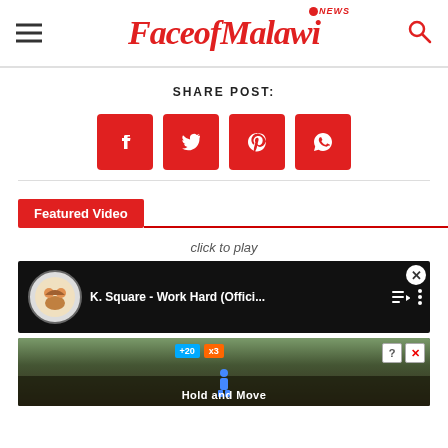FaceofMalawi NEWS
SHARE POST:
[Figure (illustration): Four red square social share buttons: Facebook (f), Twitter (bird), Pinterest (p), WhatsApp (phone)]
Featured Video
click to play
[Figure (screenshot): Video thumbnail showing K. Square - Work Hard (Offici... with avatar icon, playlist and menu icons on dark background]
[Figure (screenshot): Advertisement banner with game UI showing +20, x3 scores, person icons and 'Hold and Move' text with close/help buttons]